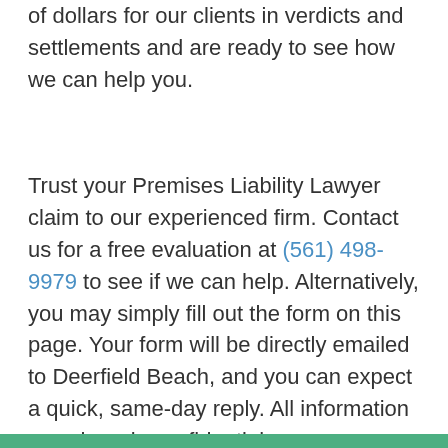of dollars for our clients in verdicts and settlements and are ready to see how we can help you.
Trust your Premises Liability Lawyer claim to our experienced firm. Contact us for a free evaluation at (561) 498-9979 to see if we can help. Alternatively, you may simply fill out the form on this page. Your form will be directly emailed to Deerfield Beach, and you can expect a quick, same-day reply. All information you share is confidential.